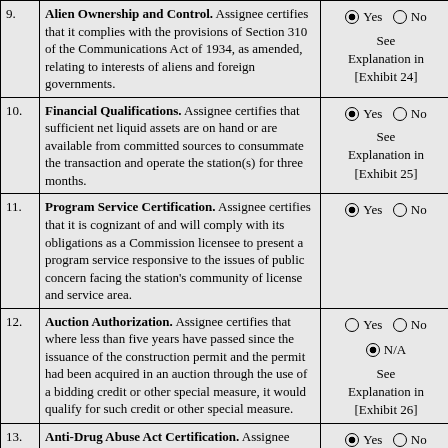| # | Description | Answer |
| --- | --- | --- |
| 9. | Alien Ownership and Control. Assignee certifies that it complies with the provisions of Section 310 of the Communications Act of 1934, as amended, relating to interests of aliens and foreign governments. | Yes (filled) / No (empty)
See Explanation in [Exhibit 24] |
| 10. | Financial Qualifications. Assignee certifies that sufficient net liquid assets are on hand or are available from committed sources to consummate the transaction and operate the station(s) for three months. | Yes (filled) / No (empty)
See Explanation in [Exhibit 25] |
| 11. | Program Service Certification. Assignee certifies that it is cognizant of and will comply with its obligations as a Commission licensee to present a program service responsive to the issues of public concern facing the station's community of license and service area. | Yes (filled) / No (empty) |
| 12. | Auction Authorization. Assignee certifies that where less than five years have passed since the issuance of the construction permit and the permit had been acquired in an auction through the use of a bidding credit or other special measure, it would qualify for such credit or other special measure. | Yes (empty) / No (empty)
N/A (filled)
See Explanation in [Exhibit 26] |
| 13. | Anti-Drug Abuse Act Certification. Assignee certifies that neither assignee nor any party to the application is subject to denial of federal benefits pursuant to Section 5301 of the Anti-Drug Abuse Act of 1988, 21 U.S.C. Section 862. | Yes (filled) / No (empty) |